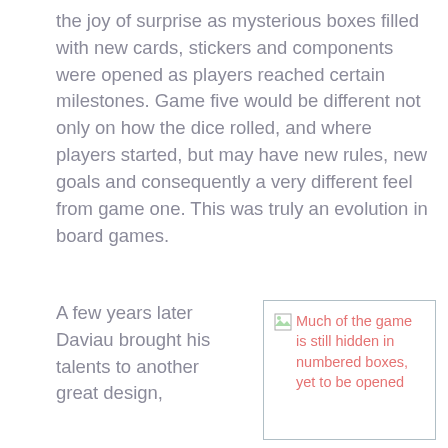the joy of surprise as mysterious boxes filled with new cards, stickers and components were opened as players reached certain milestones. Game five would be different not only on how the dice rolled, and where players started, but may have new rules, new goals and consequently a very different feel from game one. This was truly an evolution in board games.
A few years later Daviau brought his talents to another great design,
[Figure (photo): Broken image placeholder with caption: Much of the game is still hidden in numbered boxes, yet to be opened]